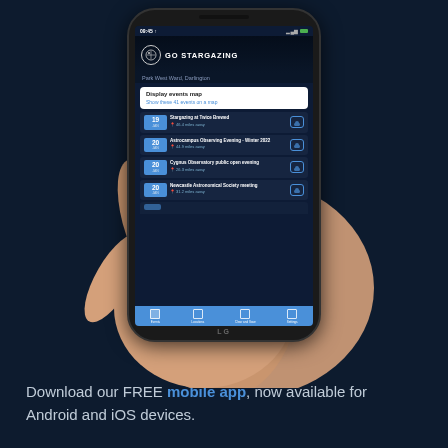[Figure (screenshot): A hand holding an LG smartphone displaying the 'Go Stargazing' mobile app. The app shows a dark-themed interface with the title 'GO STARGAZING', location 'Park West Ward, Darlington', a 'Display events map' card, and a list of upcoming stargazing events including: 'Stargazing at Twice Brewed' (19 Jan, 46.4 miles away), 'Astrocampus Observing Evening - Winter 2022' (20 Jan, 44.9 miles away), 'Cygnus Observatory public open evening' (20 Jan, 26.3 miles away), 'Newcastle Astronomical Society meeting' (20 Jan, 31.2 miles away). The bottom navigation bar shows Events, Locations, Clear and Save, Settings tabs.]
Download our FREE mobile app, now available for Android and iOS devices.